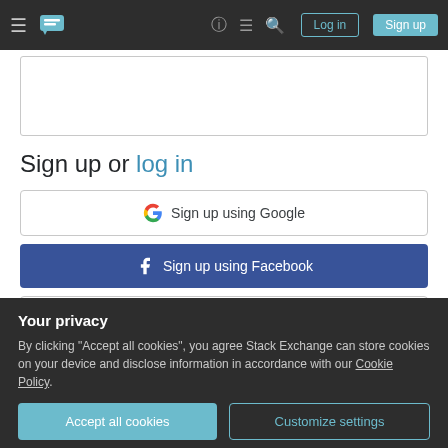Stack Exchange navigation bar with Log in and Sign up buttons
Sign up or log in
[Figure (screenshot): Sign up using Google button with Google G logo]
[Figure (screenshot): Sign up using Facebook button with Facebook f logo on blue background]
[Figure (screenshot): Sign up using Email and Password button with Stack Overflow icon]
Your privacy
By clicking "Accept all cookies", you agree Stack Exchange can store cookies on your device and disclose information in accordance with our Cookie Policy.
Accept all cookies
Customize settings
Email
Required, but never shown